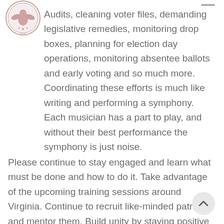[Figure (logo): Circular seal/logo with eagle or emblem, pink/red tones]
Audits, cleaning voter files, demanding legislative remedies, monitoring drop boxes, planning for election day operations, monitoring absentee ballots and early voting and so much more. Coordinating these efforts is much like writing and performing a symphony. Each musician has a part to play, and without their best performance the symphony is just noise.
Please continue to stay engaged and learn what must be done and how to do it. Take advantage of the upcoming training sessions around Virginia. Continue to recruit like-minded patriots and mentor them. Build unity by staying positive and showing appreciation for the sacrifice of time and treasure of those who are serving with you.